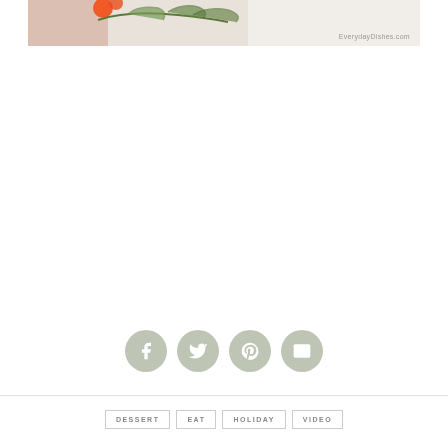[Figure (photo): Partial food photo showing green leaves/stems and orange berries or peppers on a light background with EverydayDishes.com watermark]
[Figure (infographic): Four social media sharing icon buttons in sage green circles: Facebook (f), Twitter (bird), Pinterest (P), Email (envelope)]
DESSERT  EAT  HOLIDAY  VIDEO